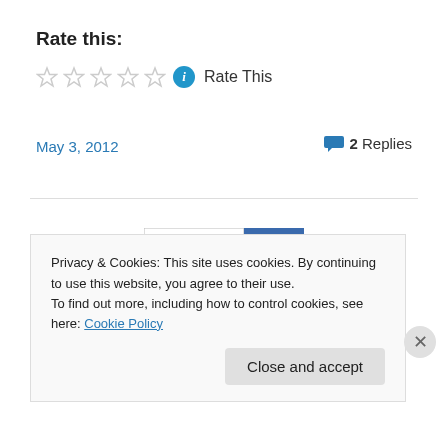Rate this:
Rate This
May 3, 2012
2 Replies
[Figure (logo): Logo with a square Q symbol on white and blue corner bracket on grey background]
Privacy & Cookies: This site uses cookies. By continuing to use this website, you agree to their use.
To find out more, including how to control cookies, see here: Cookie Policy
Close and accept